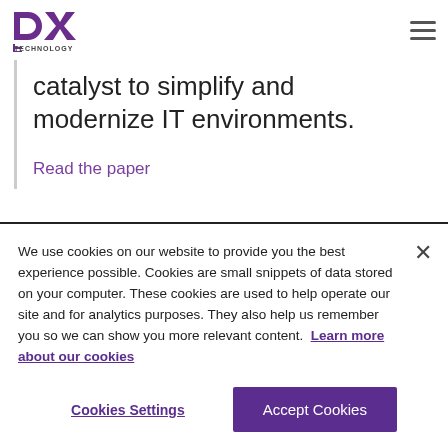DXC Technology
catalyst to simplify and modernize IT environments.
Read the paper
We use cookies on our website to provide you the best experience possible. Cookies are small snippets of data stored on your computer. These cookies are used to help operate our site and for analytics purposes. They also help us remember you so we can show you more relevant content. Learn more about our cookies